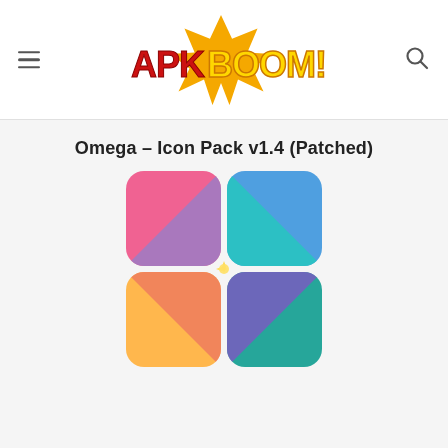APKBOOM! (logo) — navigation header with hamburger menu and search icon
Omega – Icon Pack v1.4 (Patched)
[Figure (illustration): Omega Icon Pack app icon showing a 2x2 grid of rounded squares: top-left pink/purple, top-right blue/teal, bottom-left orange/coral, bottom-right purple/teal, with diagonal triangular color splits meeting at center with a small yellow star/highlight.]